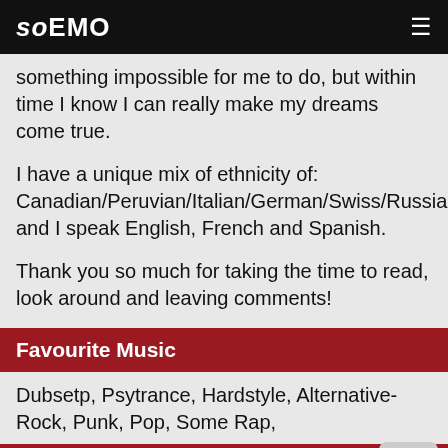soEMO
something impossible for me to do, but within time I know I can really make my dreams come true.
I have a unique mix of ethnicity of: Canadian/Peruvian/Italian/German/Swiss/Russian, and I speak English, French and Spanish.
Thank you so much for taking the time to read, look around and leaving comments!
Favourite Music
Dubsetp, Psytrance, Hardstyle, Alternative-Rock, Punk, Pop, Some Rap,
Favourite Films / TV / Books